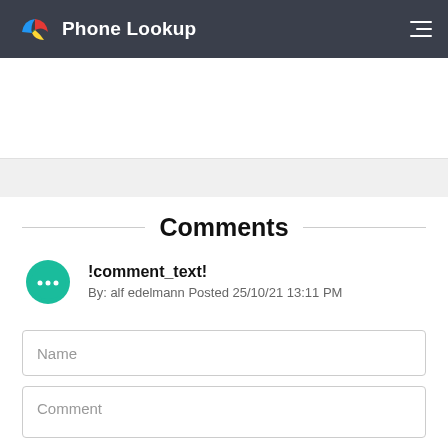Phone Lookup
Comments
!comment_text!
By: alf edelmann Posted 25/10/21 13:11 PM
Name
Comment